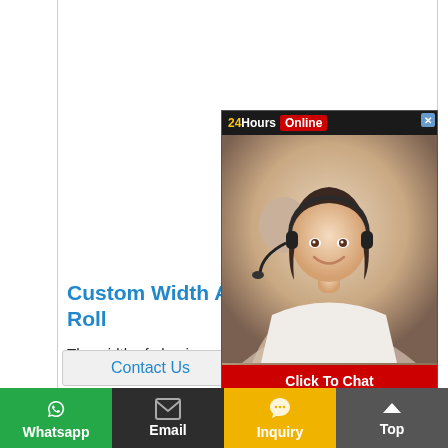[Figure (photo): 24 Hours Online chat widget with photo of a woman wearing a headset, and a Click To Chat button]
Custom Width Aluminum Foil Jumbo Roll
The width of aluminum foil is usually 10mm ~ 1900mm. Different widths have different uses. We can customize different width according to your requirements. Such as 15mm (1.5 cm)20mm, 45mm, 50mm (5 cm), 60mm (6 c…
[Figure (screenshot): Contact Us button (partially visible)]
Whatsapp | Email | Inquiry | Top